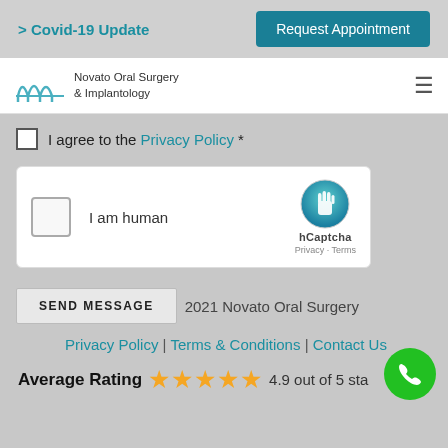> Covid-19 Update
Request Appointment
[Figure (logo): Novato Oral Surgery & Implantology logo with bridge/arch graphic]
Novato Oral Surgery & Implantology
I agree to the Privacy Policy *
[Figure (screenshot): hCaptcha widget with checkbox, 'I am human' text, and hCaptcha logo badge with Privacy - Terms links]
SEND MESSAGE
2021 Novato Oral Surgery
Privacy Policy | Terms & Conditions | Contact Us
Average Rating ★★★★★ 4.9 out of 5 stars